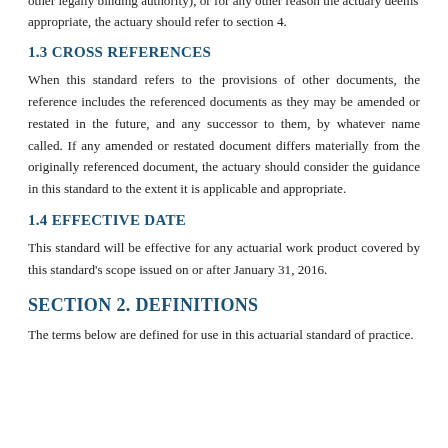other legally binding authority), or for any other reason the actuary deems appropriate, the actuary should refer to section 4.
1.3 CROSS REFERENCES
When this standard refers to the provisions of other documents, the reference includes the referenced documents as they may be amended or restated in the future, and any successor to them, by whatever name called. If any amended or restated document differs materially from the originally referenced document, the actuary should consider the guidance in this standard to the extent it is applicable and appropriate.
1.4 EFFECTIVE DATE
This standard will be effective for any actuarial work product covered by this standard's scope issued on or after January 31, 2016.
SECTION 2. DEFINITIONS
The terms below are defined for use in this actuarial standard of practice.